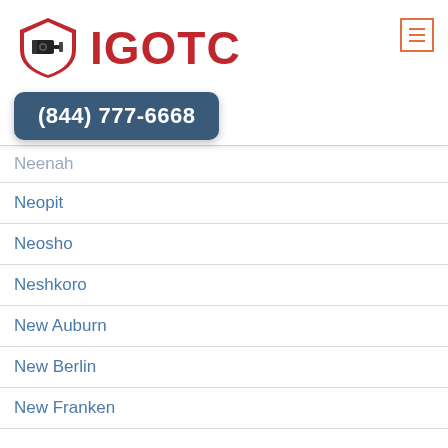IGOTC (844) 777-6668
Neopit
Neosho
Neshkoro
New Auburn
New Berlin
New Franken